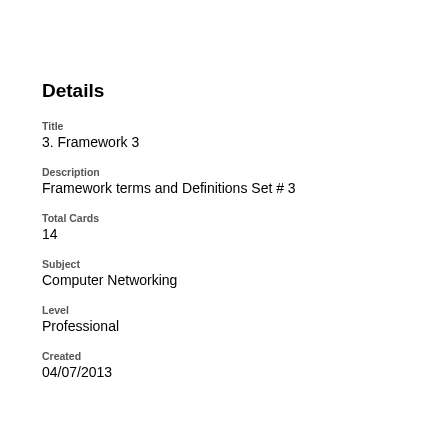Details
Title
3. Framework 3
Description
Framework terms and Definitions Set # 3
Total Cards
14
Subject
Computer Networking
Level
Professional
Created
04/07/2013